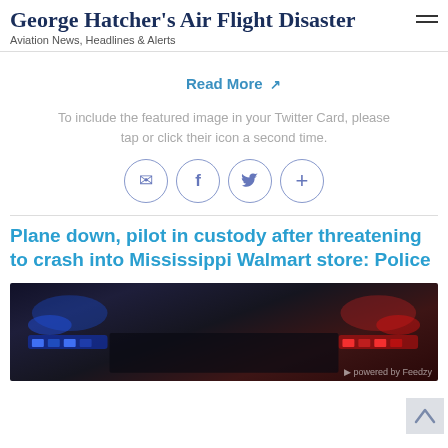George Hatcher's Air Flight Disaster
Aviation News, Headlines & Alerts
Read More ↗
To include the featured image in your Twitter Card, please tap or click their icon a second time.
[Figure (infographic): Four circular social share icons: email, Facebook, Twitter, and plus/add, rendered in blue-purple outline circle style.]
Plane down, pilot in custody after threatening to crash into Mississippi Walmart store: Police
[Figure (photo): Dark photo showing police car lights (blue and red) in a nighttime scene. A Feedzy watermark is visible at the bottom right.]